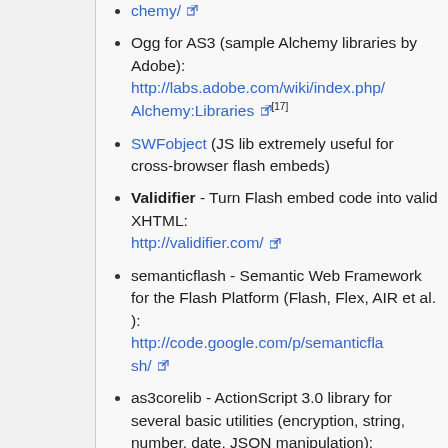Ogg for AS3 (sample Alchemy libraries by Adobe): http://labs.adobe.com/wiki/index.php/Alchemy:Libraries [17]
SWFobject (JS lib extremely useful for cross-browser flash embeds)
Validifier - Turn Flash embed code into valid XHTML: http://validifier.com/
semanticflash - Semantic Web Framework for the Flash Platform (Flash, Flex, AIR et al. ): http://code.google.com/p/semanticflash/
as3corelib - ActionScript 3.0 library for several basic utilities (encryption, string, number, date, JSON manipulation): http://code.google.com/p/as3corelib